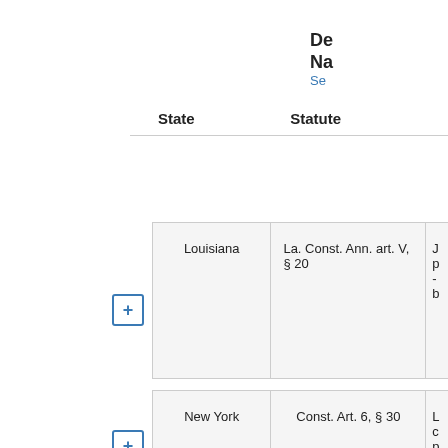| State | Statute | De... Na... |
| --- | --- | --- |
| Louisiana | La. Const. Ann. art. V, § 20 | J p - b |
| New York | Const. Art. 6, § 30 | L c p c t a |